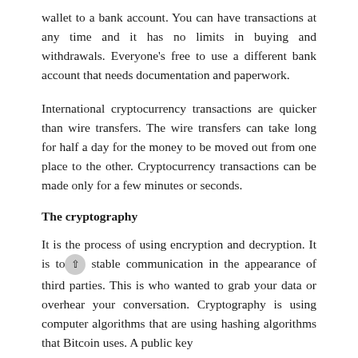wallet to a bank account. You can have transactions at any time and it has no limits in buying and withdrawals. Everyone's free to use a different bank account that needs documentation and paperwork.
International cryptocurrency transactions are quicker than wire transfers. The wire transfers can take long for half a day for the money to be moved out from one place to the other. Cryptocurrency transactions can be made only for a few minutes or seconds.
The cryptography
It is the process of using encryption and decryption. It is too stable communication in the appearance of third parties. This is who wanted to grab your data or overhear your conversation. Cryptography is using computer algorithms that are using hashing algorithms that Bitcoin uses. A public key